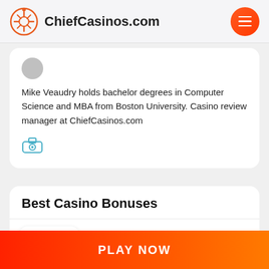ChiefCasinos.com
Mike Veaudry holds bachelor degrees in Computer Science and MBA from Boston University. Casino review manager at ChiefCasinos.com
Best Casino Bonuses
50 Chances to Win Jackpot for C$1
PLAY NOW